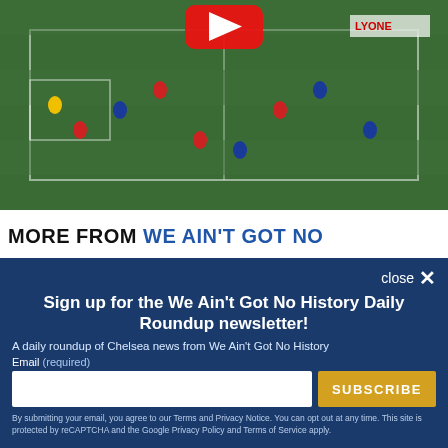[Figure (photo): Soccer match scene on a grass pitch with players in red and blue uniforms, viewed from above/side angle. A red play button icon is visible at the top center.]
MORE FROM WE AIN'T GOT NO
Sign up for the We Ain't Got No History Daily Roundup newsletter!
A daily roundup of Chelsea news from We Ain't Got No History
Email (required)
SUBSCRIBE
By submitting your email, you agree to our Terms and Privacy Notice. You can opt out at any time. This site is protected by reCAPTCHA and the Google Privacy Policy and Terms of Service apply.